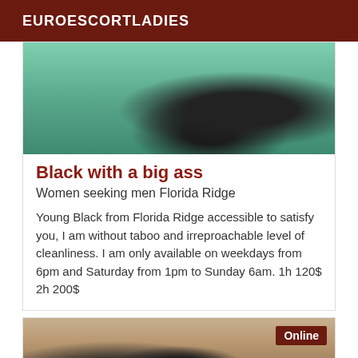EUROESCORTLADIES
[Figure (photo): Photo showing a person lying on a green bed with black clothing/stockings visible]
Black with a big ass
Women seeking men Florida Ridge
Young Black from Florida Ridge accessible to satisfy you, I am without taboo and irreproachable level of cleanliness. I am only available on weekdays from 6pm and Saturday from 1pm to Sunday 6am. 1h 120$ 2h 200$
[Figure (photo): Photo of a person standing near a window with dark clothing, with an Online badge overlay]